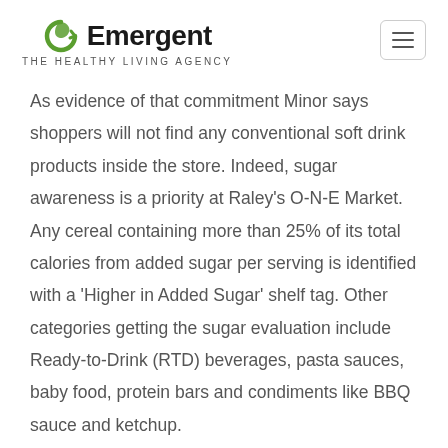Emergent THE HEALTHY LIVING AGENCY
As evidence of that commitment Minor says shoppers will not find any conventional soft drink products inside the store. Indeed, sugar awareness is a priority at Raley's O-N-E Market. Any cereal containing more than 25% of its total calories from added sugar per serving is identified with a 'Higher in Added Sugar' shelf tag. Other categories getting the sugar evaluation include Ready-to-Drink (RTD) beverages, pasta sauces, baby food, protein bars and condiments like BBQ sauce and ketchup.